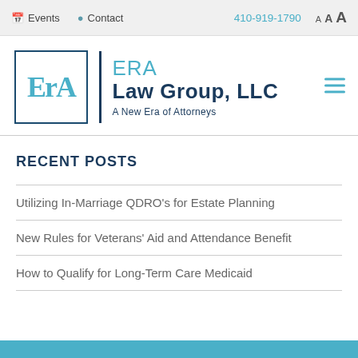Events | Contact | 410-919-1790 | A A A
[Figure (logo): ERA Law Group LLC logo with ERA letters in teal inside a dark blue bordered box, vertical divider, then ERA Law Group LLC / A New Era of Attorneys text]
RECENT POSTS
Utilizing In-Marriage QDRO's for Estate Planning
New Rules for Veterans' Aid and Attendance Benefit
How to Qualify for Long-Term Care Medicaid